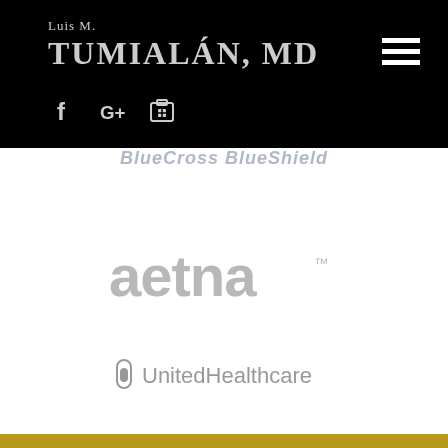Luis M. TUMIALÁN, MD
[Figure (logo): Blue Cross Blue Shield insurance logo text, partially visible, grey-blue color]
[Figure (logo): Aetna insurance logo in grey]
[Figure (logo): UnitedHealthcare insurance logo in grey with torch icon]